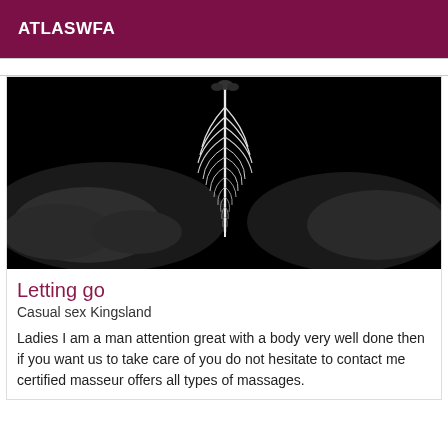ATLASWFA
[Figure (photo): Black and white artistic photo of a white feather being held over a person's body, sensual/artistic style.]
Letting go
Casual sex Kingsland
Ladies I am a man attention great with a body very well done then if you want us to take care of you do not hesitate to contact me certified masseur offers all types of massages.